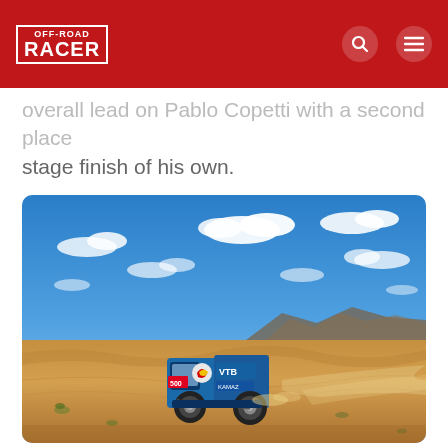[Figure (logo): OFF-ROAD RACER logo in white text with border on red background header, with search and menu icons on the right]
overall lead on Pablo Copetti with a second place stage finish of his own.
[Figure (photo): A blue Red Bull VTS rally truck racing through a sandy desert landscape under a bright blue sky with white clouds, rocky hills visible in the background, dust trail behind the truck]